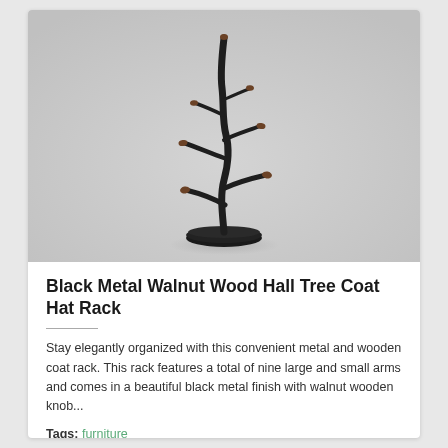[Figure (photo): A black metal coat rack with walnut wood knobs resembling a tree with branches, standing on a round base, photographed against a light gray background.]
Black Metal Walnut Wood Hall Tree Coat Hat Rack
Stay elegantly organized with this convenient metal and wooden coat rack. This rack features a total of nine large and small arms and comes in a beautiful black metal finish with walnut wooden knob...
Tags: furniture